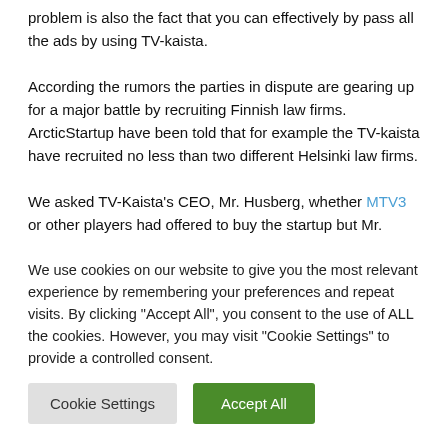problem is also the fact that you can effectively by pass all the ads by using TV-kaista.
According the rumors the parties in dispute are gearing up for a major battle by recruiting Finnish law firms. ArcticStartup have been told that for example the TV-kaista have recruited no less than two different Helsinki law firms.
We asked TV-Kaista's CEO, Mr. Husberg, whether MTV3 or other players had offered to buy the startup but Mr. Husberg
We use cookies on our website to give you the most relevant experience by remembering your preferences and repeat visits. By clicking "Accept All", you consent to the use of ALL the cookies. However, you may visit "Cookie Settings" to provide a controlled consent.